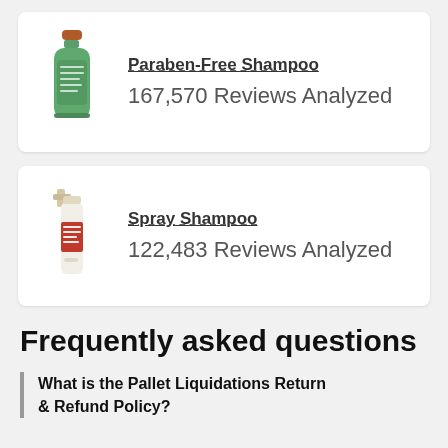[Figure (photo): Green paraben-free shampoo bottle with copper cap]
Paraben-Free Shampoo
167,570 Reviews Analyzed
[Figure (photo): Spray shampoo bottle with white and red label]
Spray Shampoo
122,483 Reviews Analyzed
Frequently asked questions
What is the Pallet Liquidations Return & Refund Policy?